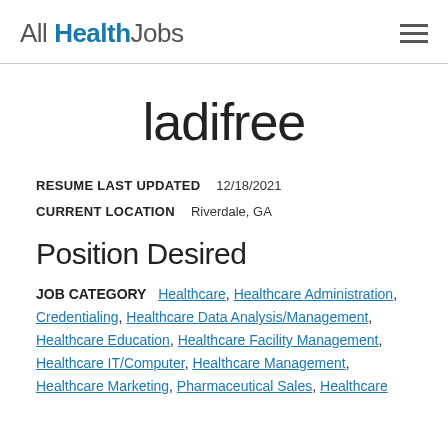All Health Jobs
ladifree
RESUME LAST UPDATED   12/18/2021
CURRENT LOCATION   Riverdale, GA
Position Desired
JOB CATEGORY   Healthcare, Healthcare Administration, Credentialing, Healthcare Data Analysis/Management, Healthcare Education, Healthcare Facility Management, Healthcare IT/Computer, Healthcare Management, Healthcare Marketing, Pharmaceutical Sales, Healthcare